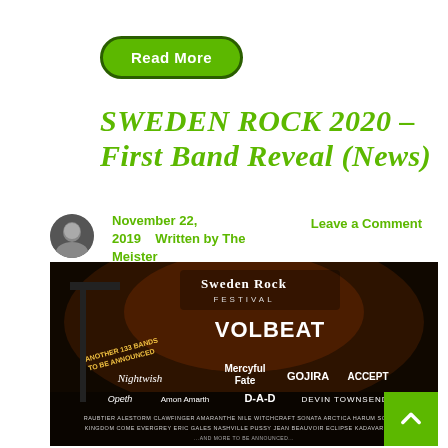Read More
SWEDEN ROCK 2020 – First Band Reveal (News)
November 22, 2019   Written by The Meister   Leave a Comment
[Figure (photo): Sweden Rock Festival 2020 first band reveal poster showing Volbeat, Nightwish, Mercyful Fate, Gojira, Accept, Opeth, Amon Amarth, D-A-D, Devin Townsend and more bands listed at the bottom.]